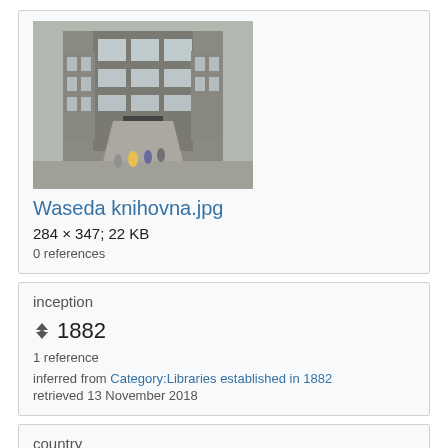[Figure (photo): Photograph of Waseda library building exterior with stairs and people]
Waseda knihovna.jpg
284 × 347; 22 KB
0 references
inception
1882
1 reference
inferred from Category:Libraries established in 1882
retrieved 13 November 2018
country
Japan